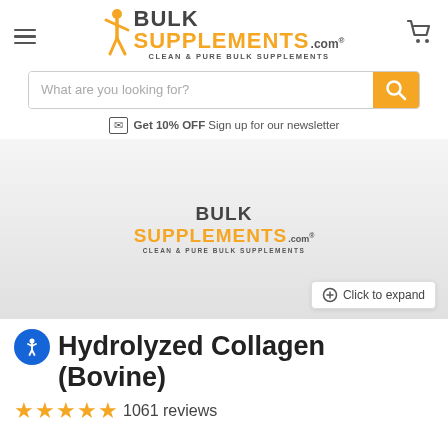[Figure (logo): BulkSupplements.com logo with orange figure and text: BULK SUPPLEMENTS.com, CLEAN & PURE BULK SUPPLEMENTS]
What are you looking for?
Get 10% OFF Sign up for our newsletter
[Figure (photo): Product container with BulkSupplements.com label and Click to expand button]
Hydrolyzed Collagen (Bovine)
★★★★★ 1061 reviews